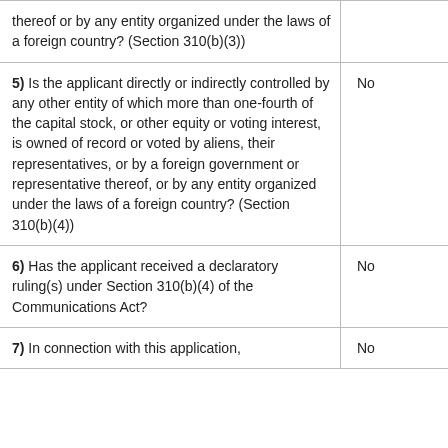| Question | Answer |
| --- | --- |
| thereof or by any entity organized under the laws of a foreign country? (Section 310(b)(3)) |  |
| 5) Is the applicant directly or indirectly controlled by any other entity of which more than one-fourth of the capital stock, or other equity or voting interest, is owned of record or voted by aliens, their representatives, or by a foreign government or representative thereof, or by any entity organized under the laws of a foreign country? (Section 310(b)(4)) | No |
| 6) Has the applicant received a declaratory ruling(s) under Section 310(b)(4) of the Communications Act? | No |
| 7) In connection with this application, | No |